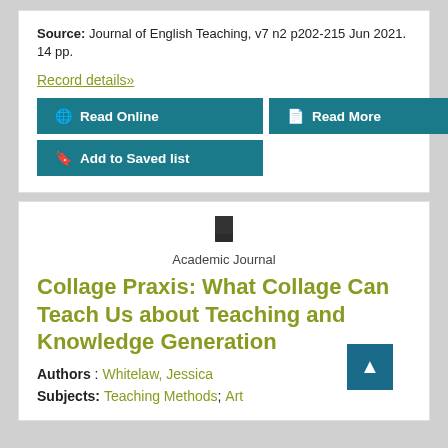Source: Journal of English Teaching, v7 n2 p202-215 Jun 2021. 14 pp.
Record details»
Read Online
Read More
Add to Saved list
Academic Journal
Collage Praxis: What Collage Can Teach Us about Teaching and Knowledge Generation
Authors : Whitelaw, Jessica
Subjects: Teaching Methods; Art